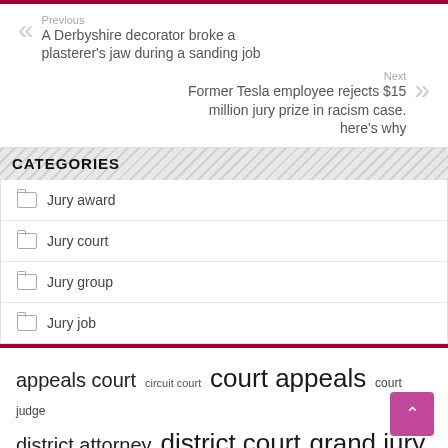Previous
A Derbyshire decorator broke a plasterer's jaw during a sanding job
Next
Former Tesla employee rejects $15 million jury prize in racism case. here's why
CATEGORIES
Jury award
Jury court
Jury group
Jury job
appeals court  circuit court  court appeals  court judge  district attorney  district court  grand jury  jury trial  jury verdict  pleaded guilty  police officer  superior court  supreme court  united states  years prison